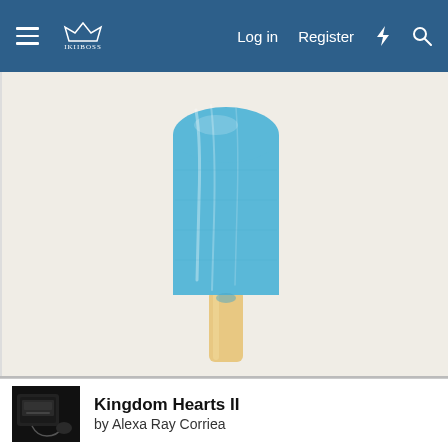Log in  Register
[Figure (photo): A blue popsicle/ice pop on a wooden stick, photographed against a light beige/cream background. The popsicle is a bright sky blue color with a glossy, slightly textured surface. The wooden stick is pale tan/beige.]
[Figure (photo): Thumbnail image of a PlayStation 2 gaming console (black) with a controller, shown in the article card at the bottom of the page.]
Kingdom Hearts II
by Alexa Ray Corriea